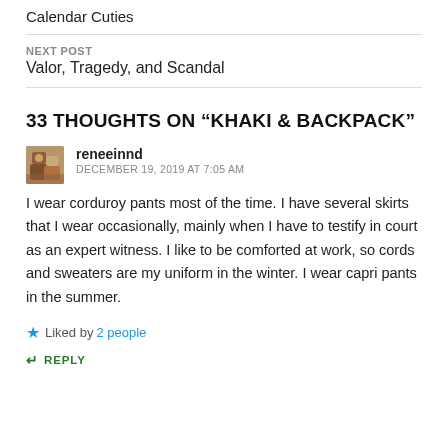Calendar Cuties
NEXT POST
Valor, Tragedy, and Scandal
33 THOUGHTS ON “KHAKI & BACKPACK”
reneeinnd
DECEMBER 19, 2019 AT 7:05 AM
I wear corduroy pants most of the time. I have several skirts that I wear occasionally, mainly when I have to testify in court as an expert witness. I like to be comforted at work, so cords and sweaters are my uniform in the winter. I wear capri pants in the summer.
Liked by 2 people
REPLY